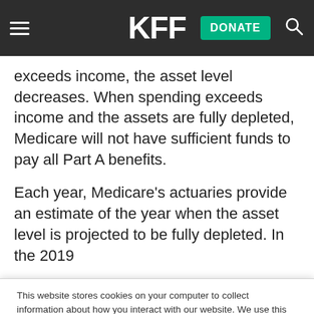KFF
exceeds income, the asset level decreases. When spending exceeds income and the assets are fully depleted, Medicare will not have sufficient funds to pay all Part A benefits.
Each year, Medicare’s actuaries provide an estimate of the year when the asset level is projected to be fully depleted. In the 2019
This website stores cookies on your computer to collect information about how you interact with our website. We use this information in order to improve and customize your browsing experience and for analytics and metrics about our visitors both on this website and other media. To find out more about the cookies we use, see our Privacy Policy.
Accept